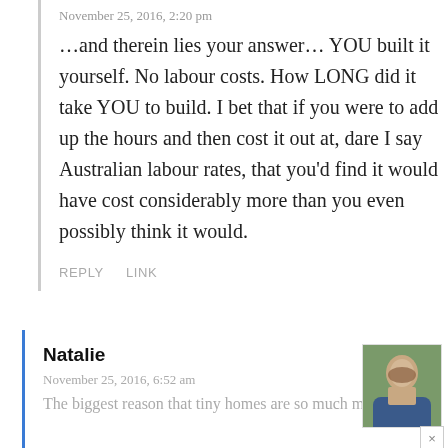November 25, 2016, 2:20 pm
…and therein lies your answer… YOU built it yourself. No labour costs. How LONG did it take YOU to build. I bet that if you were to add up the hours and then cost it out at, dare I say Australian labour rates, that you'd find it would have cost considerably more than you even possibly think it would.
REPLY    LINK
Natalie
November 25, 2016, 6:52 am
The biggest reason that tiny homes are so much more…